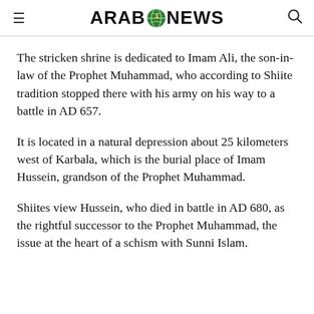ARAB NEWS
The stricken shrine is dedicated to Imam Ali, the son-in-law of the Prophet Muhammad, who according to Shiite tradition stopped there with his army on his way to a battle in AD 657.
It is located in a natural depression about 25 kilometers west of Karbala, which is the burial place of Imam Hussein, grandson of the Prophet Muhammad.
Shiites view Hussein, who died in battle in AD 680, as the rightful successor to the Prophet Muhammad, the issue at the heart of a schism with Sunni Islam.